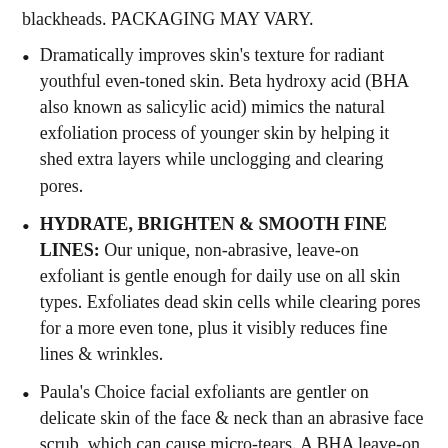blackheads. PACKAGING MAY VARY.
Dramatically improves skin's texture for radiant youthful even-toned skin. Beta hydroxy acid (BHA also known as salicylic acid) mimics the natural exfoliation process of younger skin by helping it shed extra layers while unclogging and clearing pores.
HYDRATE, BRIGHTEN & SMOOTH FINE LINES: Our unique, non-abrasive, leave-on exfoliant is gentle enough for daily use on all skin types. Exfoliates dead skin cells while clearing pores for a more even tone, plus it visibly reduces fine lines & wrinkles.
Paula's Choice facial exfoliants are gentler on delicate skin of the face & neck than an abrasive face scrub, which can cause micro-tears. A BHA leave-on exfoliator delivers hydration & can exfoliate directly inside the pore & improve how the pore works.
Paula's Choice Skincare makes products that work. No